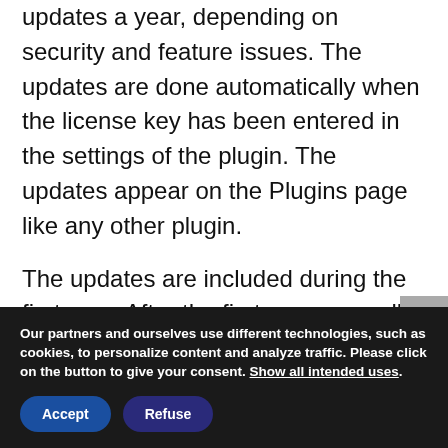Usually, we are doing seven or eight updates a year, depending on security and feature issues. The updates are done automatically when the license key has been entered in the settings of the plugin. The updates appear on the Plugins page like any other plugin.
The updates are included during the first year. After the first year, a small fee will be ask to you to continue. However, the plugin will still continue to work even if
Our partners and ourselves use different technologies, such as cookies, to personalize content and analyze traffic. Please click on the button to give your consent. Show all intended uses.